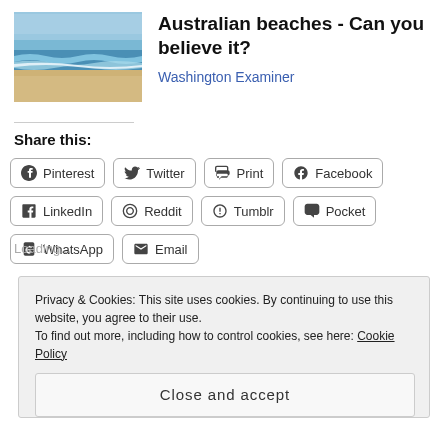[Figure (photo): Beach photo showing ocean waves and sandy shore under blue sky]
Australian beaches - Can you believe it?
Washington Examiner
Share this:
Pinterest
Twitter
Print
Facebook
LinkedIn
Reddit
Tumblr
Pocket
WhatsApp
Email
Privacy & Cookies: This site uses cookies. By continuing to use this website, you agree to their use.
To find out more, including how to control cookies, see here: Cookie Policy
Close and accept